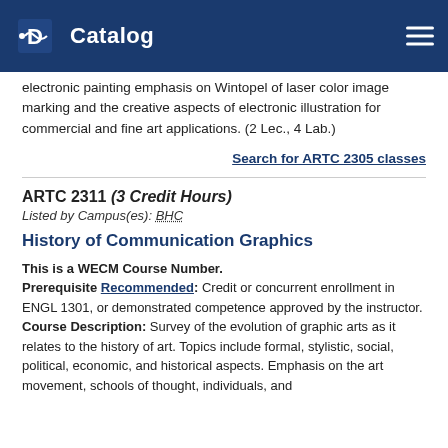Catalog
electronic painting emphasis on Wintopel of laser color image marking and the creative aspects of electronic illustration for commercial and fine art applications. (2 Lec., 4 Lab.)
Search for ARTC 2305 classes
ARTC 2311 (3 Credit Hours)
Listed by Campus(es): BHC
History of Communication Graphics
This is a WECM Course Number.
Prerequisite Recommended: Credit or concurrent enrollment in ENGL 1301, or demonstrated competence approved by the instructor.
Course Description: Survey of the evolution of graphic arts as it relates to the history of art. Topics include formal, stylistic, social, political, economic, and historical aspects. Emphasis on the art movement, schools of thought, individuals, and